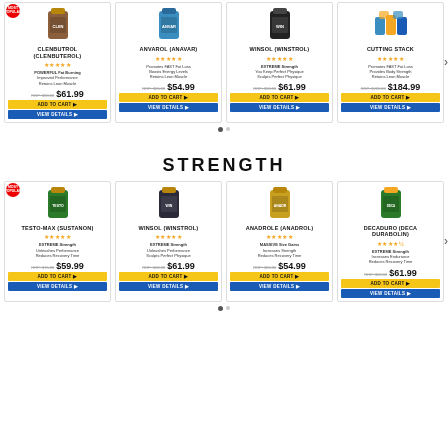[Figure (screenshot): Product carousel - cutting/fat loss supplements: Clenbutrol (Clenbuterol) $61.99, Anvarol (Anavar) $54.99, Winsol (Winstrol) $61.99, Cutting Stack $184.99]
STRENGTH
[Figure (screenshot): Product carousel - strength supplements: Testo-Max (Sustanon) $59.99, Winsol (Winstrol) $61.99, Anadrole (Anadrol) $54.99, Decaduro (Deca Durabolin) $61.99]